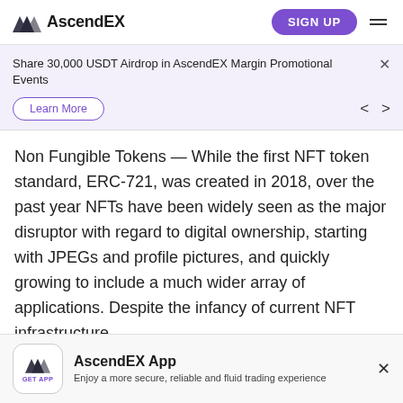AscendEX
Share 30,000 USDT Airdrop in AscendEX Margin Promotional Events
Learn More
Non Fungible Tokens — While the first NFT token standard, ERC-721, was created in 2018, over the past year NFTs have been widely seen as the major disruptor with regard to digital ownership, starting with JPEGs and profile pictures, and quickly growing to include a much wider array of applications. Despite the infancy of current NFT infrastructure,
AscendEX App
Enjoy a more secure, reliable and fluid trading experience